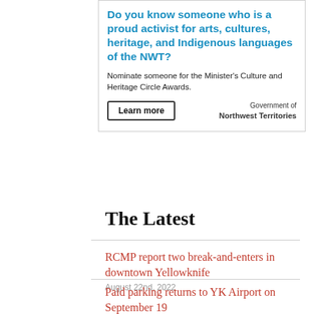[Figure (other): Government of Northwest Territories advertisement asking if you know a proud activist for arts, cultures, heritage, and Indigenous languages of the NWT, with a call to nominate for Minister's Culture and Heritage Circle Awards and a Learn more button.]
The Latest
RCMP report two break-and-enters in downtown Yellowknife
August 22nd, 2022
Paid parking returns to YK Airport on September 19
August 22nd, 2022